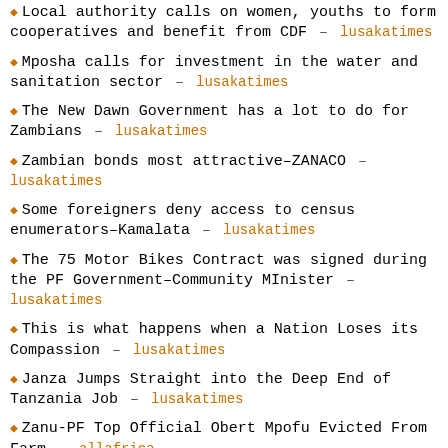Local authority calls on women, youths to form cooperatives and benefit from CDF – lusakatimes
Mposha calls for investment in the water and sanitation sector – lusakatimes
The New Dawn Government has a lot to do for Zambians – lusakatimes
Zambian bonds most attractive–ZANACO – lusakatimes
Some foreigners deny access to census enumerators–Kamalata – lusakatimes
The 75 Motor Bikes Contract was signed during the PF Government–Community MInister – lusakatimes
This is what happens when a Nation Loses its Compassion – lusakatimes
Janza Jumps Straight into the Deep End of Tanzania Job – lusakatimes
Zanu-PF Top Official Obert Mpofu Evicted From Farm – allafrica
Chief Ndiweni, Diasporans Meet UK, Namibia Diplomats to